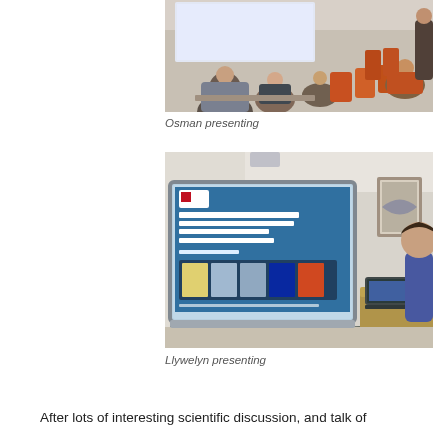[Figure (photo): Photo of audience in a lecture room watching a presentation, people seated in orange chairs]
Osman presenting
[Figure (photo): Photo of a presentation screen showing a slide about neurovascular uncoupling and optogenetic stimulation, with a presenter sitting to the right]
Llywelyn presenting
After lots of interesting scientific discussion, and talk of